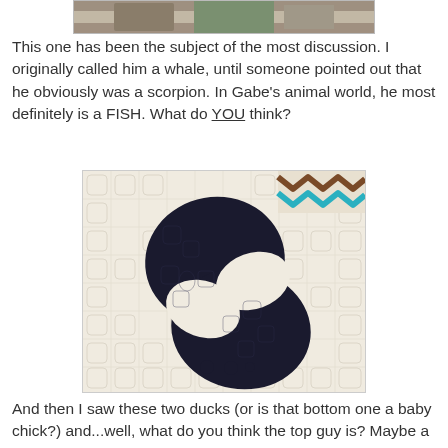[Figure (photo): Partial cropped image of a quilt or textile at the top of the page]
This one has been the subject of the most discussion. I originally called him a whale, until someone pointed out that he obviously was a scorpion. In Gabe's animal world, he most definitely is a FISH. What do YOU think?
[Figure (photo): Close-up photo of a quilt block featuring a large dark navy/black S-shaped or fish/whale shaped appliqué on a cream quilted background with decorative chevron fabric in the upper right corner and two small dark circular dots at the bottom center suggesting eyes]
And then I saw these two ducks (or is that bottom one a baby chick?) and...well, what do you think the top guy is? Maybe a lizard? Whatever, I will either have to make some